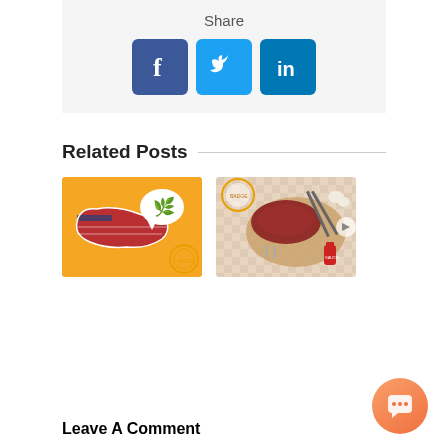Share
[Figure (infographic): Social share icons: Facebook (blue), Twitter (light blue), LinkedIn (dark blue)]
Related Posts
[Figure (illustration): Orange background illustration of USA map with American flag pattern and cannabis leaf speech bubble, with a circular stamp badge in corner]
[Figure (illustration): BBQ/grilling themed illustration with meat on cutting board, grilling tools, sauce bottle, and a circular food certification badge]
Leave A Comment
[Figure (other): Orange circular chat/support button with speech bubble icon in bottom right corner]